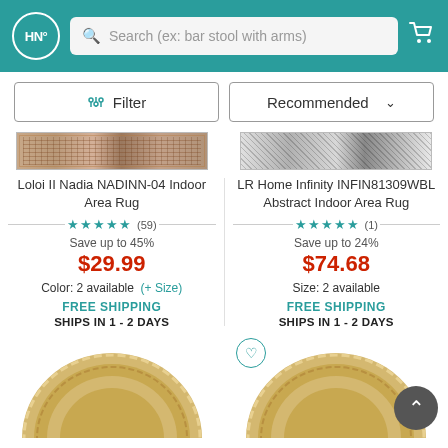HN Search (ex: bar stool with arms)
Filter   Recommended
[Figure (photo): Loloi II Nadia NADINN-04 Indoor Area Rug product image - patterned rug thumbnail]
Loloi II Nadia NADINN-04 Indoor Area Rug
★★★★★ (59)
Save up to 45%
$29.99
Color: 2 available   (+ Size)
FREE SHIPPING
SHIPS IN 1 - 2 DAYS
[Figure (photo): LR Home Infinity INFIN81309WBL Abstract Indoor Area Rug product image - abstract black and white rug thumbnail]
LR Home Infinity INFIN81309WBL Abstract Indoor Area Rug
★★★★★ (1)
Save up to 24%
$74.68
Size: 2 available
FREE SHIPPING
SHIPS IN 1 - 2 DAYS
[Figure (photo): Round woven jute/natural fiber rug - bottom left]
[Figure (photo): Round woven jute/natural fiber rug - bottom right]